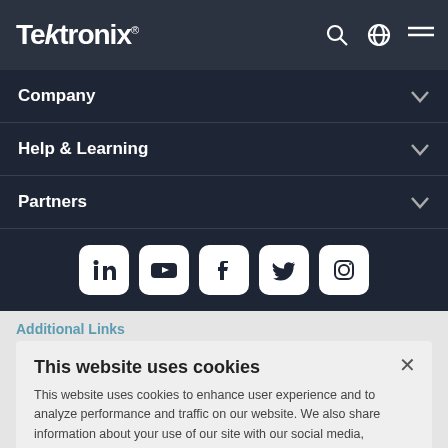Tektronix
Company
Help & Learning
Partners
[Figure (illustration): Social media icon buttons: LinkedIn, YouTube, Facebook, Twitter, Instagram]
Additional Links
This website uses cookies
This website uses cookies to enhance user experience and to analyze performance and traffic on our website. We also share information about your use of our site with our social media, advertising and analytics partners.
Ok